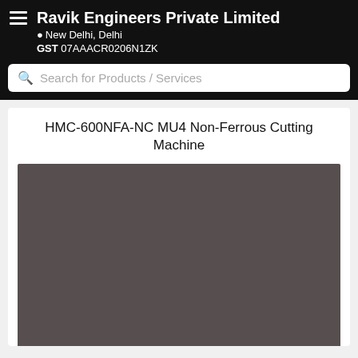Ravik Engineers Private Limited
New Delhi, Delhi
GST 07AAACR0206N1ZK
Search for Products / Services
HMC-600NFA-NC MU4 Non-Ferrous Cutting Machine
[Figure (photo): Product image placeholder - dark brownish-grey rectangular area representing the HMC-600NFA-NC MU4 Non-Ferrous Cutting Machine photo]